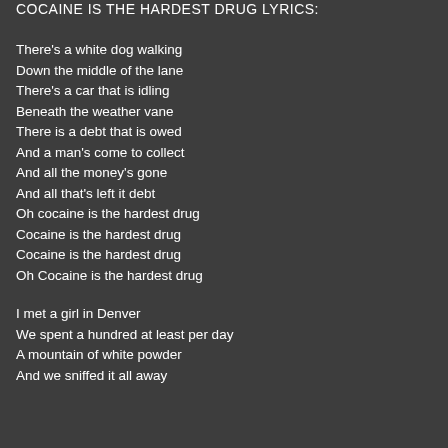COCAINE IS THE HARDEST DRUG  LYRICS:
There's a white dog walking
Down the middle of the lane
There's a car that is idling
Beneath the weather vane
There is a debt that is owed
And a man's come to collect
And all the money's gone
And all that's left it debt
Oh cocaine is the hardest drug
Cocaine is the hardest drug
Cocaine is the hardest drug
Oh Cocaine is the hardest drug

I met a girl in Denver
We spent a hundred at least per day
A mountain of white powder
And we sniffed it all away